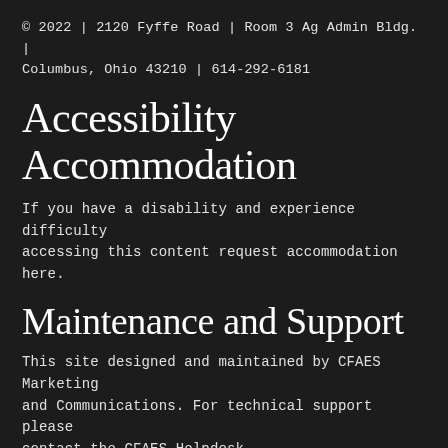© 2022 | 2120 Fyffe Road | Room 3 Ag Admin Bldg. | Columbus, Ohio 43210 | 614-292-6181
Accessibility Accommodation
If you have a disability and experience difficulty accessing this content request accommodation here.
Maintenance and Support
This site designed and maintained by CFAES Marketing and Communications. For technical support please contact the CFAES Helpdesk.